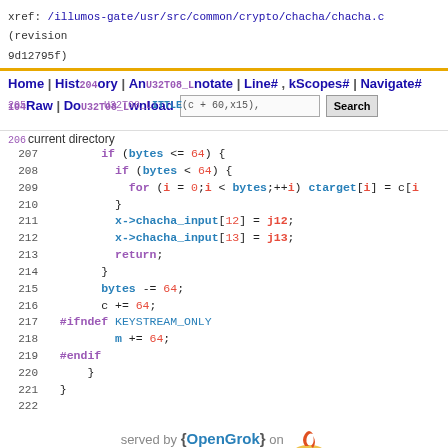xref: /illumos-gate/usr/src/common/crypto/chacha/chacha.c (revision 9d12795f)
Home | History | Annotate | Line# | Scopes# | Navigate# | Raw | Download | current directory
[Figure (screenshot): OpenGrok code viewer navigation bar with search input and overlaid code context lines 204-206 showing U32T08_LITTLE macro calls]
207  if (bytes <= 64) {
208    if (bytes < 64) {
209      for (i = 0;i < bytes;++i) ctarget[i] = c[i
210    }
211    x->chacha_input[12] = j12;
212    x->chacha_input[13] = j13;
213    return;
214  }
215  bytes -= 64;
216  c += 64;
217 #ifndef KEYSTREAM_ONLY
218      m += 64;
219 #endif
220    }
221  }
222
served by {OpenGrok} on Java
Last Index update Tue Jul 12 07:04:25 UTC 2022